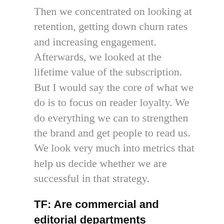Then we concentrated on looking at retention, getting down churn rates and increasing engagement. Afterwards, we looked at the lifetime value of the subscription. But I would say the core of what we do is to focus on reader loyalty. We do everything we can to strengthen the brand and get people to read us. We look very much into metrics that help us decide whether we are successful in that strategy.
TF: Are commercial and editorial departments separated or actively interacting and cooperating with each other?
MJ: We are very much integrated and work